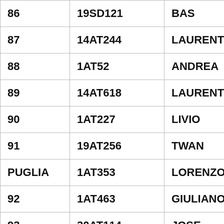| 86 | 19SD121 | BAS |
| 87 | 14AT244 | LAURENT |
| 88 | 1AT52 | ANDREA |
| 89 | 14AT618 | LAURENT |
| 90 | 1AT227 | LIVIO |
| 91 | 19AT256 | TWAN |
| PUGLIA | 1AT353 | LORENZO |
| 92 | 1AT463 | GIULIANO |
| 93 | 30AT114 | JOSE |
| 94 | 14EM10 | JEROME |
| 95 | 1AT995 | STEFANO |